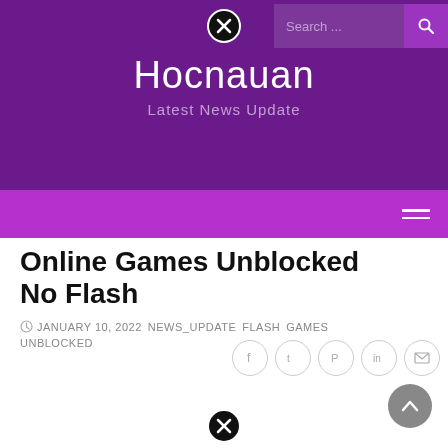Hocnauan — Latest News Update
Online Games Unblocked No Flash
JANUARY 10, 2022  NEWS_UPDATE  FLASH  GAMES  UNBLOCKED
[Figure (screenshot): Social share icons: Facebook, Twitter, Pinterest, LinkedIn, Email]